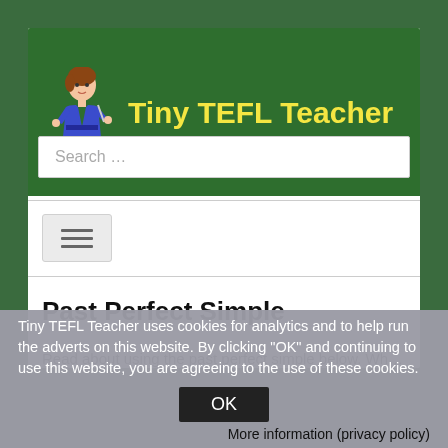Tiny TEFL Teacher
[Figure (screenshot): Search bar with placeholder text 'Search ...']
[Figure (other): Hamburger menu navigation button with three horizontal lines]
Past Perfect Simple
Tiny TEFL Teacher uses cookies for analytics and to help run the adverts on this website. By clicking "OK" and continuing to use this website, you are agreeing to the use of these cookies.
OK
More information (privacy policy)